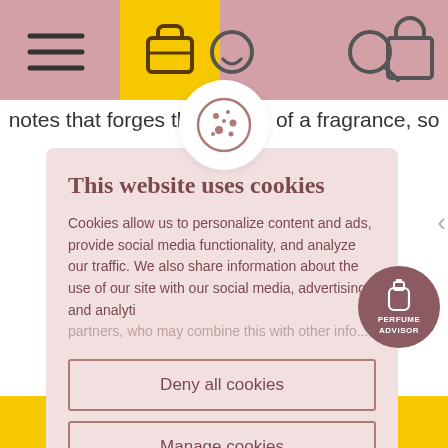[Figure (screenshot): Website navigation bar with hamburger menu, briefcase icon on yellow background, search icon, user icon, and shopping bag icon on pink/mauve background]
notes that forges th  of a fragrance, so
[Figure (illustration): Cookie consent modal dialog with cookie icon, title 'This website uses cookies', body text about cookie usage, and three buttons: Deny all cookies, Manage cookies, Ok accept all]
This website uses cookies
Cookies allow us to personalize content and ads, provide social media functionality, and analyze our traffic. We also share information about the use of our site with our social media, advertising and analytics partners, who may combine this with other info...
Deny all cookies
Manage cookies
Ok accept all
[Figure (illustration): Perfume Advisor circular button with perfume bottle icon, mauve/dark rose color]